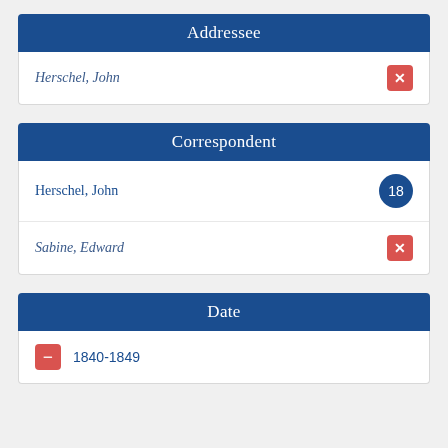Addressee
Herschel, John
Correspondent
Herschel, John
Sabine, Edward
Date
1840-1849